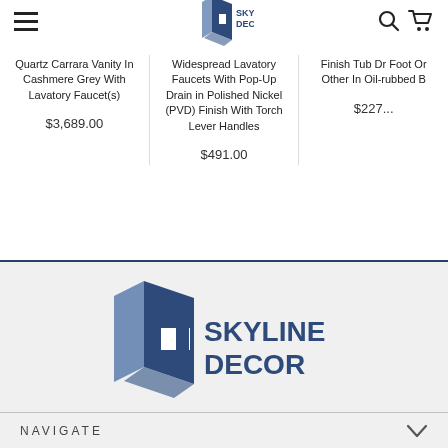[Figure (logo): Skyline Decor logo in header - blue stylized door/H icon with SKYLINE DECOR text]
Quartz Carrara Vanity In Cashmere Grey With Lavatory Faucet(s)
$3,689.00
Widespread Lavatory Faucets With Pop-Up Drain in Polished Nickel (PVD) Finish With Torch Lever Handles
$491.00
Finish Tub Dr Foot Or Other In Oil-rubbed B
$227...
[Figure (logo): Large Skyline Decor logo in footer section - blue stylized door/H icon with SKYLINE DECOR text]
NAVIGATE